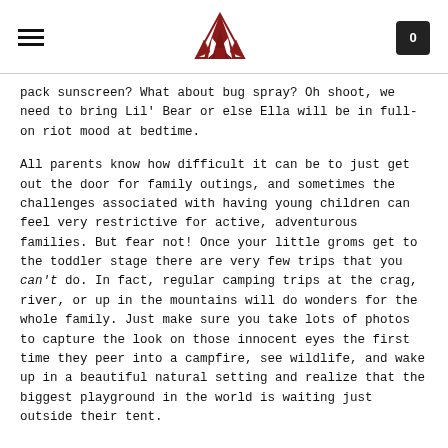[hamburger menu] [tent logo] [cart: 0]
pack sunscreen? What about bug spray? Oh shoot, we need to bring Lil' Bear or else Ella will be in full-on riot mood at bedtime.
All parents know how difficult it can be to just get out the door for family outings, and sometimes the challenges associated with having young children can feel very restrictive for active, adventurous families. But fear not! Once your little groms get to the toddler stage there are very few trips that you can't do. In fact, regular camping trips at the crag, river, or up in the mountains will do wonders for the whole family. Just make sure you take lots of photos to capture the look on those innocent eyes the first time they peer into a campfire, see wildlife, and wake up in a beautiful natural setting and realize that the biggest playground in the world is waiting just outside their tent.